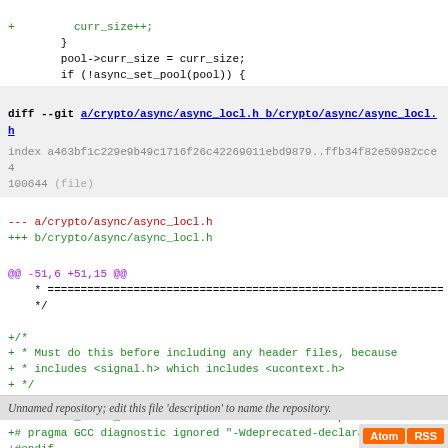+         curr_size++;
        }
        pool->curr_size = curr_size;
        if (!async_set_pool(pool)) {
diff --git a/crypto/async/async_locl.h b/crypto/async/async_locl.h
index a463bf1c229e9b49c1716f26c42269011ebd9879..ffb34f82e50982cce4
100644 (file)
--- a/crypto/async/async_locl.h
+++ b/crypto/async/async_locl.h
@@ -51,6 +51,15 @@
    * ============================================================
    */

+/*
+ * Must do this before including any header files, because
+ * includes <signal.h> which includes <ucontext.h>
+ */
+#if defined(__APPLE__) && defined(__MACH__) && !defined(_XO
+# define _XOPEN_SOURCE         /* Otherwise incomplete uco
+# pragma GCC diagnostic ignored "-Wdeprecated-declarations"
+#endif
+
 #include <openssl/async.h>
 #include <openssl/crypto.h>
Unnamed repository; edit this file 'description' to name the repository.